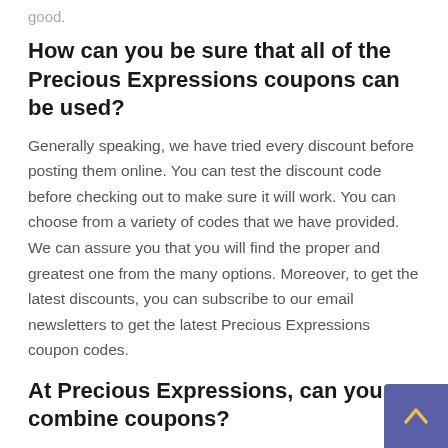good.
How can you be sure that all of the Precious Expressions coupons can be used?
Generally speaking, we have tried every discount before posting them online. You can test the discount code before checking out to make sure it will work. You can choose from a variety of codes that we have provided. We can assure you that you will find the proper and greatest one from the many options. Moreover, to get the latest discounts, you can subscribe to our email newsletters to get the latest Precious Expressions coupon codes.
At Precious Expressions, can you combine coupons?
There is a limit of one Precious Expressions promotional code per order, however occasionally, during holidays or other promotions, some promo coupons can also be used on sale items. Applying a discount code to items that are